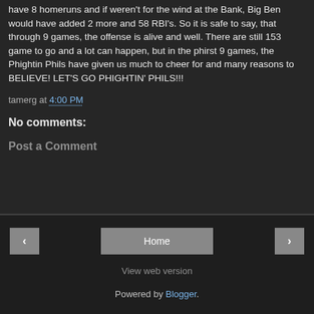have 8 homeruns and if weren't for the wind at the Bank, Big Ben would have added 2 more and 58 RBI's. So it is safe to say, that through 9 games, the offense is alive and well. There are still 153 game to go and a lot can happen, but in the phirst 9 games, the Phightin Phils have given us much to cheer for and many reasons to BELIEVE! LET'S GO PHIGHTIN' PHILS!!!
tamerg at 4:00 PM
No comments:
Post a Comment
Home | < | > | View web version | Powered by Blogger.